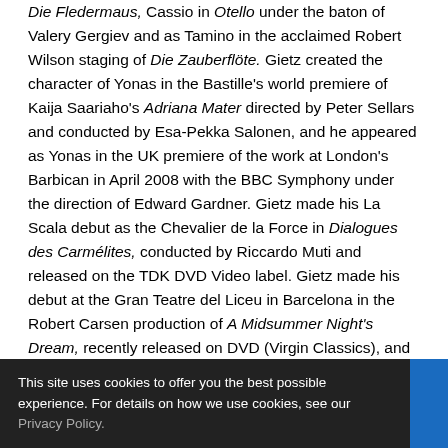Die Fledermaus, Cassio in Otello under the baton of Valery Gergiev and as Tamino in the acclaimed Robert Wilson staging of Die Zauberflöte. Gietz created the character of Yonas in the Bastille's world premiere of Kaija Saariaho's Adriana Mater directed by Peter Sellars and conducted by Esa-Pekka Salonen, and he appeared as Yonas in the UK premiere of the work at London's Barbican in April 2008 with the BBC Symphony under the direction of Edward Gardner. Gietz made his La Scala debut as the Chevalier de la Force in Dialogues des Carmélites, conducted by Riccardo Muti and released on the TDK DVD Video label. Gietz made his debut at the Gran Teatre del Liceu in Barcelona in the Robert Carsen production of A Midsummer Night's Dream, recently released on DVD (Virgin Classics), and will reprise the role at La Scala next season in the same production. He
This site uses cookies to offer you the best possible experience. For details on how we use cookies, see our Privacy Policy.